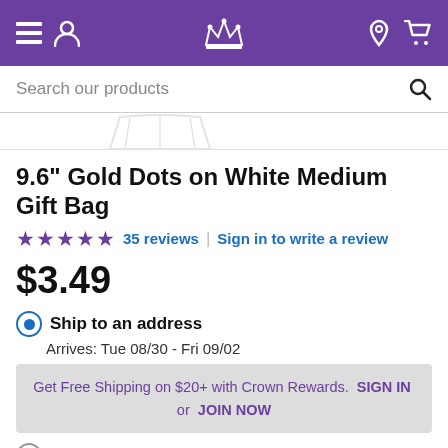Navigation bar with menu, user, crown logo, location, and cart icons
Search our products
[Figure (photo): Partial view of a white gift bag bottom, light gray outline on white background]
9.6" Gold Dots on White Medium Gift Bag
★★★★★ 35 reviews | Sign in to write a review
$3.49
Ship to an address
Arrives: Tue 08/30 - Fri 09/02
Get Free Shipping on $20+ with Crown Rewards. SIGN IN or JOIN NOW
FREE same-day pickup
In stock. Pick up as soon as today.